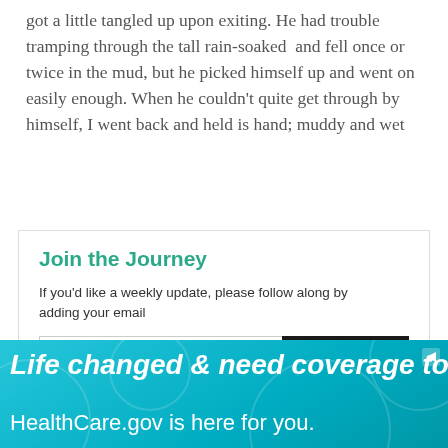got a little tangled up upon exiting. He had trouble tramping through the tall rain-soaked  and fell once or twice in the mud, but he picked himself up and went on easily enough. When he couldn't quite get through by himself, I went back and held is hand; muddy and wet
Join the Journey
If you'd like a weekly update, please follow along by adding your email
Your valid email  SIGN ME UP
made our way through weeds as tall as I am. Then in the next moment he was a naturalist, all facts and
[Figure (other): HealthCare.gov advertisement banner with teal background. Text reads: 'Life changed & need coverage too' and 'HealthCare.gov is here for you.']